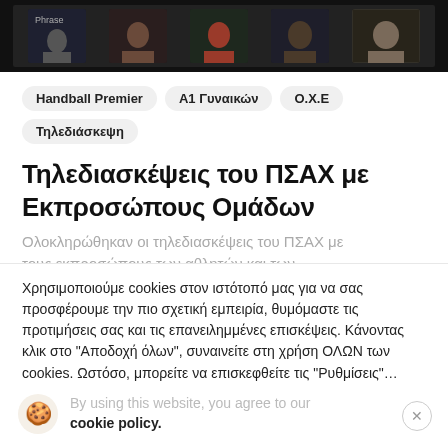[Figure (screenshot): Video conference screenshot showing multiple participants in a dark-themed grid layout]
Handball Premier
Α1 Γυναικών
Ο.Χ.Ε
Τηλεδιάσκεψη
Τηλεδιασκέψεις του ΠΣΑΧ με Εκπροσώπους Ομάδων
Ολοκληρώθηκαν οι τηλεδιασκέψεις του ΠΣΑΧ με τους εκπροσώπους των αθλητών και των
Χρησιμοποιούμε cookies στον ιστότοπό μας για να σας προσφέρουμε την πιο σχετική εμπειρία, θυμόμαστε τις προτιμήσεις σας και τις επανειλημμένες επισκέψεις. Κάνοντας κλικ στο "Αποδοχή όλων", συναινείτε στη χρήση ΟΛΩΝ των cookies. Ωστόσο, μπορείτε να επισκεφθείτε τις "Ρυθμίσεις"...
By using this website, you agree to our cookie policy.